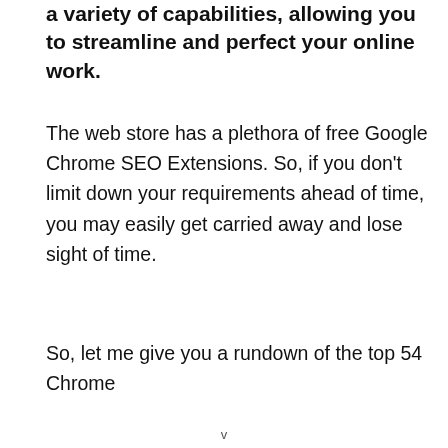a variety of capabilities, allowing you to streamline and perfect your online work.
The web store has a plethora of free Google Chrome SEO Extensions. So, if you don't limit down your requirements ahead of time, you may easily get carried away and lose sight of time.
So, let me give you a rundown of the top 54 Chrome
v